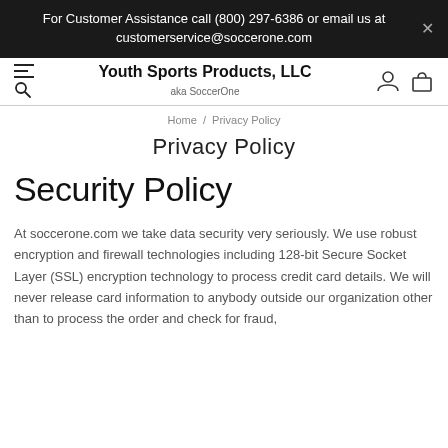For Customer Assistance call (800) 297-6386 or email us at customerservice@soccerone.com
Youth Sports Products, LLC aka SoccerOne
Home / Privacy Policy
Privacy Policy
Security Policy
At soccerone.com we take data security very seriously. We use robust encryption and firewall technologies including 128-bit Secure Socket Layer (SSL) encryption technology to process credit card details. We will never release card information to anybody outside our organization other than to process the order and check for fraud,